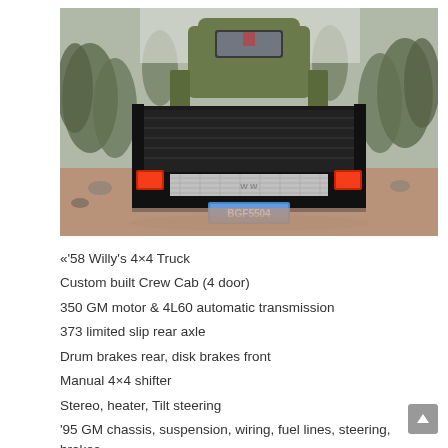[Figure (photo): Rear view of a 1958 Willys 4x4 truck with a black flatbed/stake bed, diamond-plate aluminum tailgate, red tail lights, license plate BGF5504, parked on a dirt road surrounded by pine trees. The cab is olive green.]
«'58 Willy's 4×4 Truck
Custom built Crew Cab (4 door)
350 GM motor & 4L60 automatic transmission
373 limited slip rear axle
Drum brakes rear, disk brakes front
Manual 4×4 shifter
Stereo, heater, Tilt steering
'95 GM chassis, suspension, wiring, fuel lines, steering, brakes
Stake bed with backup flood lights